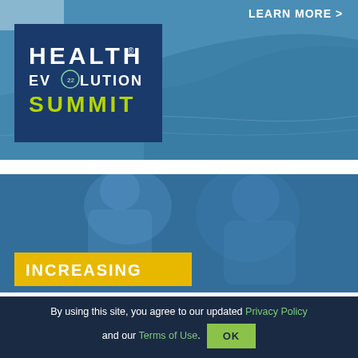[Figure (photo): Health Evolution Summit banner with coastal beach aerial photograph and logo on dark blue background. 'LEARN MORE >' text in upper right. Logo shows 'HEALTH® EVOLUTION SUMMIT' with light blue accent rectangle in top left corner.]
[Figure (photo): Blue-tinted photo of two people (medical/healthcare context) with yellow banner partially visible at bottom reading 'INCREASING']
By using this site, you agree to our updated Privacy Policy and our Terms of Use.
OK